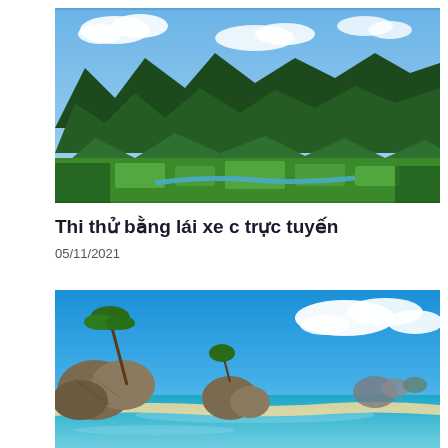[Figure (photo): Aerial view of a lush green valley with karst limestone mountains, rice fields, a river, and small settlements under a blue sky with white clouds — Vietnamese/Southeast Asian landscape.]
Thi thử bằng lái xe c trực tuyến
05/11/2021
[Figure (photo): Tropical beach scene with large granite boulders, turquoise clear water, white sandy beach, palm trees, and a bright blue sky with white clouds — likely Seychelles or similar island destination.]